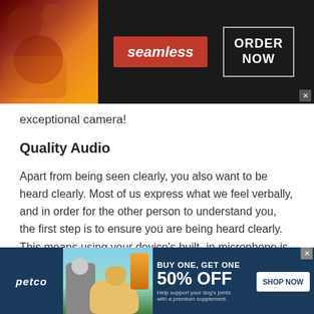[Figure (screenshot): Seamless food delivery advertisement banner with pizza image on left, red Seamless logo in center, and ORDER NOW button in white box on right, dark background]
exceptional camera!
Quality Audio
Apart from being seen clearly, you also want to be heard clearly. Most of us express what we feel verbally, and in order for the other person to understand you, the first step is to ensure you are being heard clearly. This means using your device's built- in microphone is not an option!
Get your hands on a quality microphone. Make sure you
[Figure (screenshot): Petco advertisement banner: BUY ONE, GET ONE 50% OFF dog joint supplement, with dog and person image, SHOP NOW button, dark navy background]